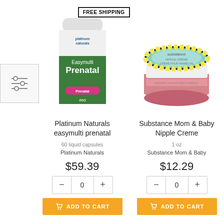[Figure (other): Filter/sort icon with horizontal sliders]
[Figure (photo): Platinum Naturals Easymulti Prenatal supplement bottle, 60 liquid capsules, with FREE SHIPPING badge]
Platinum Naturals easymulti prenatal
60 liquid capsules
Platinum Naturals
$59.39
[Figure (other): Quantity selector showing 0 with minus and plus buttons]
ADD TO CART
[Figure (photo): Substance Mom & Baby Nipple Creme jar, 1 oz, round pink container with teal and yellow floral lid]
Substance Mom & Baby Nipple Creme
1 oz
Substance Mom & Baby
$12.29
[Figure (other): Quantity selector showing 0 with minus and plus buttons]
ADD TO CART